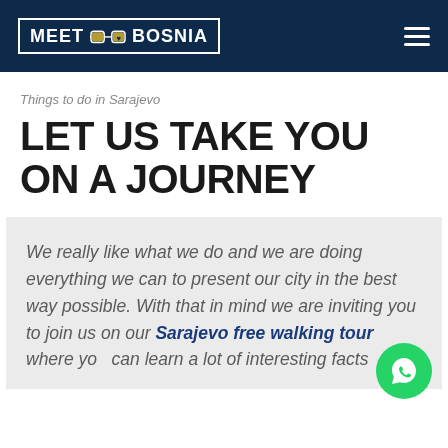MEET BOSNIA
Things to do in Sarajevo
LET US TAKE YOU ON A JOURNEY
We really like what we do and we are doing everything we can to present our city in the best way possible. With that in mind we are inviting you to join us on our Sarajevo free walking tour where you can learn a lot of interesting facts